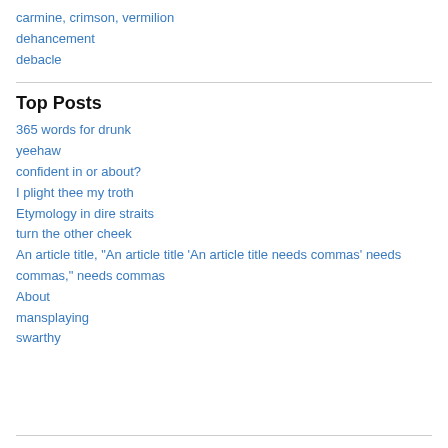carmine, crimson, vermilion
dehancement
debacle
Top Posts
365 words for drunk
yeehaw
confident in or about?
I plight thee my troth
Etymology in dire straits
turn the other cheek
An article title, "An article title 'An article title needs commas' needs commas," needs commas
About
mansplaying
swarthy